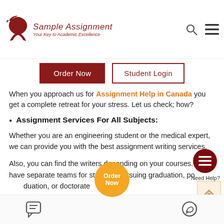Sample Assignment — Your Key to Academic Excellence
When you approach us for Assignment Help in Canada you get a complete retreat for your stress. Let us check; how?
Assignment Services For All Subjects:
Whether you are an engineering student or the medical expert, we can provide you with the best assignment writing services.
Also, you can find the writers depending on your courses. We have separate teams for students pursuing graduation, post graduation, or doctorate
Order Now